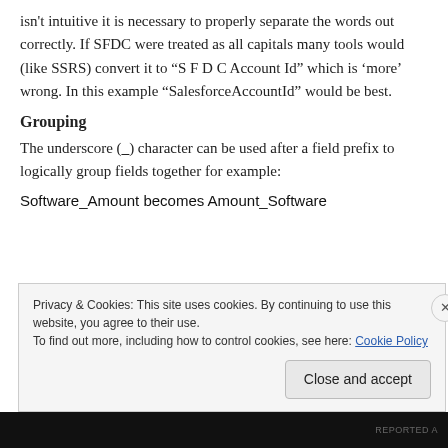isn't intuitive it is necessary to properly separate the words out correctly. If SFDC were treated as all capitals many tools would (like SSRS) convert it to “S F D C Account Id” which is ‘more’ wrong. In this example “SalesforceAccountId” would be best.
Grouping
The underscore (_) character can be used after a field prefix to logically group fields together for example:
Software_Amount becomes Amount_Software
Privacy & Cookies: This site uses cookies. By continuing to use this website, you agree to their use.
To find out more, including how to control cookies, see here: Cookie Policy